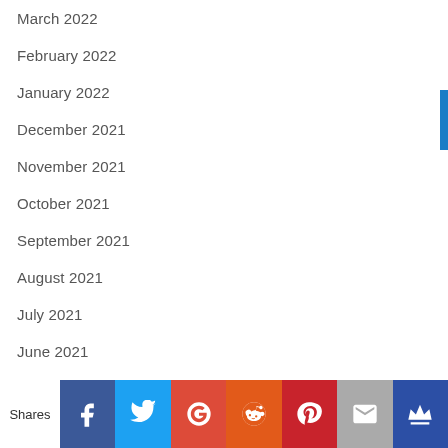March 2022
February 2022
January 2022
December 2021
November 2021
October 2021
September 2021
August 2021
July 2021
June 2021
May 2021
April 2021
March 2021
Shares | Facebook | Twitter | Google+ | Reddit | Pinterest | Email | King